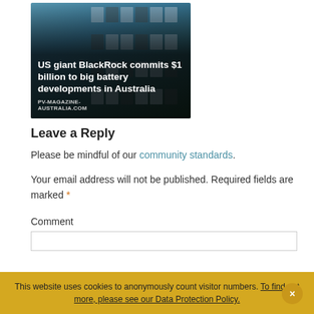[Figure (photo): Article card with photo of large battery storage installation (grid of grey battery units) with overlay text reading 'US giant BlackRock commits $1 billion to big battery developments in Australia' and source label 'PV-MAGAZINE-AUSTRALIA.COM']
Leave a Reply
Please be mindful of our community standards.
Your email address will not be published. Required fields are marked *
Comment
This website uses cookies to anonymously count visitor numbers. To find out more, please see our Data Protection Policy.